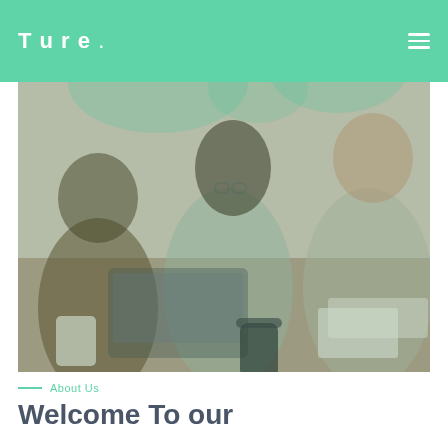Ture .
[Figure (photo): Three people sitting around a table collaborating on a laptop, with coffee cups and papers on the table. The image has a light green/mint overlay tint.]
— About Us
Welcome To our